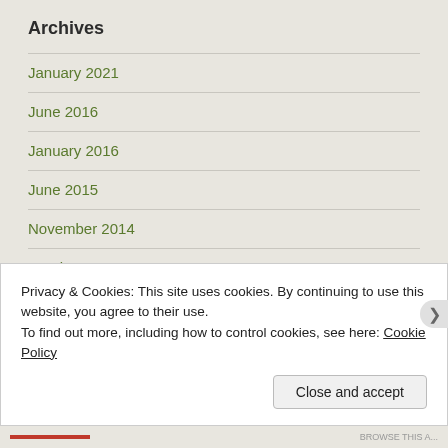Archives
January 2021
June 2016
January 2016
June 2015
November 2014
October 2014
September 2014
August 2014
Privacy & Cookies: This site uses cookies. By continuing to use this website, you agree to their use.
To find out more, including how to control cookies, see here: Cookie Policy
Close and accept